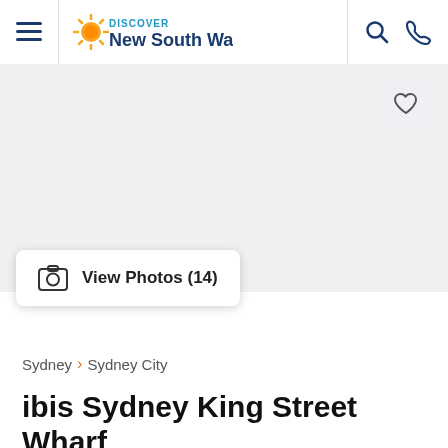Discover New South Wales
[Figure (screenshot): Hero image area placeholder (white/light grey background)]
View Photos (14)
Sydney > Sydney City
ibis Sydney King Street Wharf